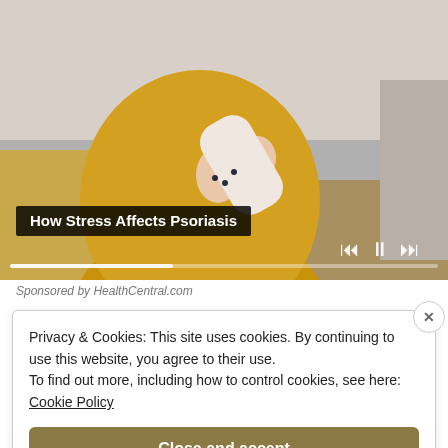[Figure (photo): Person in yellow knit sweater sitting on a couch, holding their arm, video player with progress bar and playback controls overlaid]
How Stress Affects Psoriasis
Sponsored by HealthCentral.com
Privacy & Cookies: This site uses cookies. By continuing to use this website, you agree to their use.
To find out more, including how to control cookies, see here:
Cookie Policy
Close and accept